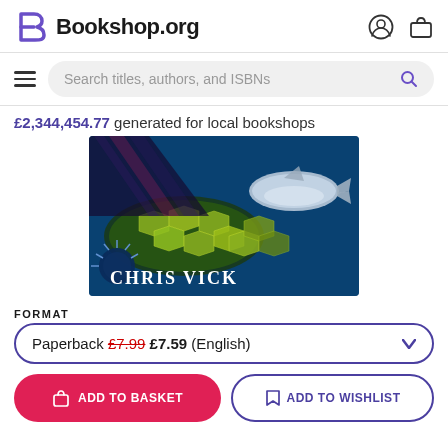Bookshop.org
Search titles, authors, and ISBNs
£2,344,454.77 generated for local bookshops
[Figure (photo): Book cover showing underwater ocean scene with sea turtle and whale, text 'CHRIS VICK' in white]
FORMAT
Paperback £7.99 £7.59 (English)
ADD TO BASKET
ADD TO WISHLIST